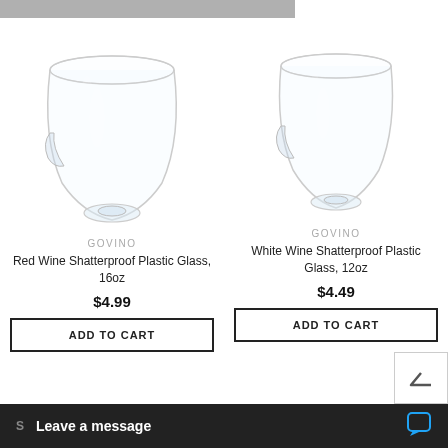[Figure (photo): Govino Red Wine Shatterproof Plastic Glass 16oz product image]
GOVINO
Red Wine Shatterproof Plastic Glass, 16oz
$4.99
ADD TO CART
[Figure (photo): Govino White Wine Shatterproof Plastic Glass 12oz product image]
GOVINO
White Wine Shatterproof Plastic Glass, 12oz
$4.49
ADD TO CART
Leave a message